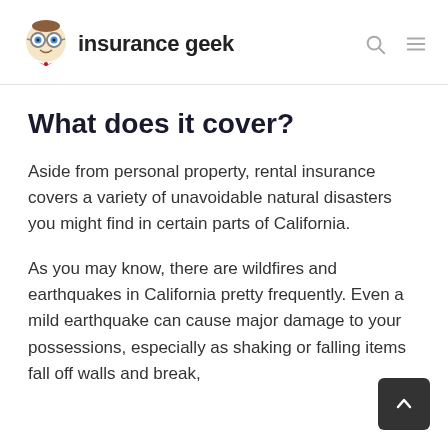insurance geek
What does it cover?
Aside from personal property, rental insurance covers a variety of unavoidable natural disasters you might find in certain parts of California.
As you may know, there are wildfires and earthquakes in California pretty frequently. Even a mild earthquake can cause major damage to your possessions, especially as shaking or falling items fall off walls and break,